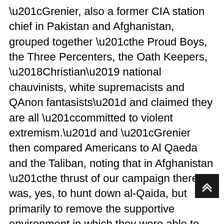“Grenier, also a former CIA station chief in Pakistan and Afghanistan, grouped together “the Proud Boys, the Three Percenters, the Oath Keepers, ‘Christian’ national chauvinists, white supremacists and QAnon fantasists” and claimed they are all “committed to violent extremism.” and “Grenier then compared Americans to Al Qaeda and the Taliban, noting that in Afghanistan “the thrust of our campaign there was, yes, to hunt down al-Qaida, but primarily to remove the supportive environment in which they were able to live and to flourish. And that meant fighting the Taliban.” So maybe a 60 day pause to get the troops in order so they can hunt down the conservatives? Sounds insane. Everything